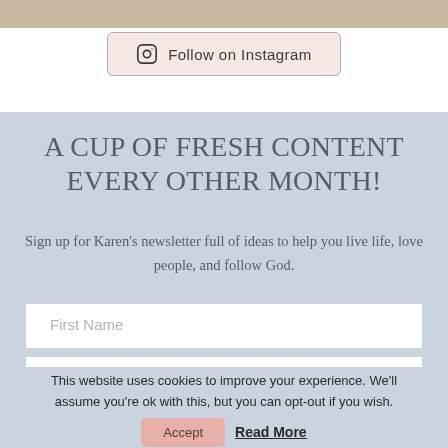[Figure (photo): Top strip showing partial photo of a coffee cup or food item]
Follow on Instagram
A CUP OF FRESH CONTENT EVERY OTHER MONTH!
Sign up for Karen's newsletter full of ideas to help you live life, love people, and follow God.
First Name
This website uses cookies to improve your experience. We'll assume you're ok with this, but you can opt-out if you wish.
Accept
Read More